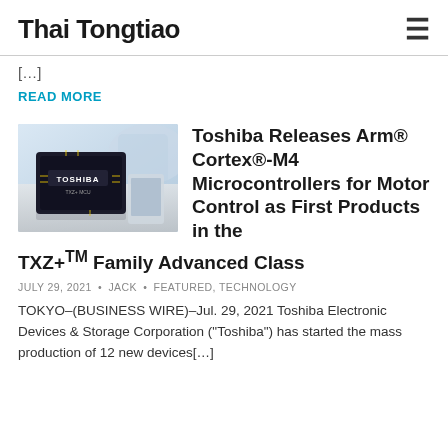Thai Tongtiao
[…]
READ MORE
[Figure (photo): Toshiba chip/microcontroller device on a desk with electronics in background]
Toshiba Releases Arm® Cortex®-M4 Microcontrollers for Motor Control as First Products in the TXZ+TM Family Advanced Class
JULY 29, 2021 • JACK • FEATURED, TECHNOLOGY
TOKYO–(BUSINESS WIRE)–Jul. 29, 2021 Toshiba Electronic Devices & Storage Corporation ("Toshiba") has started the mass production of 12 new devices[…]